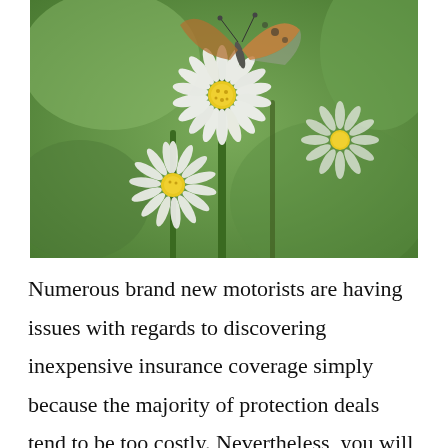[Figure (photo): Close-up photograph of white daisy-like flowers with yellow centers on green stems, with a small orange and gray butterfly perched on the top flower]
Numerous brand new motorists are having issues with regards to discovering inexpensive insurance coverage simply because the majority of protection deals tend to be too costly. Nevertheless, you will find